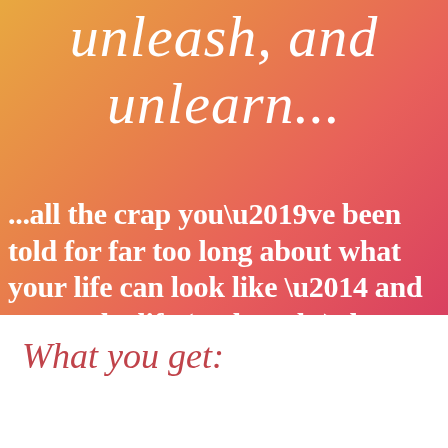unleash, and unlearn...
...all the crap you’ve been told for far too long about what your life can look like — and create the life (and work!) that matters to you.
What you get: